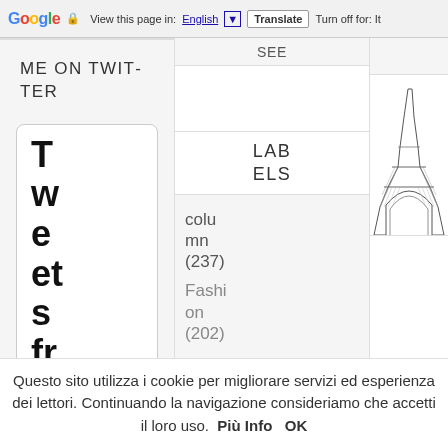Google  View this page in: English [▼]  Translate  Turn off for: It
SEE
ME ON TWITTER
Tweets fr
LABELS
column (237)
Fashion (202)
[Figure (illustration): Illustration of the Eiffel Tower base/arch section, black and white engraving style]
Questo sito utilizza i cookie per migliorare servizi ed esperienza dei lettori. Continuando la navigazione consideriamo che accetti il loro uso.  Più Info  OK